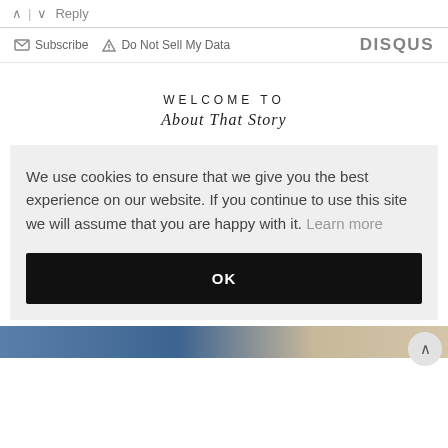^ | v Reply
Subscribe  Do Not Sell My Data  DISQUS
WELCOME TO
About That Story
We use cookies to ensure that we give you the best experience on our website. If you continue to use this site we will assume that you are happy with it. Learn more
OK
[Figure (photo): Partial image strip at the bottom of the page]